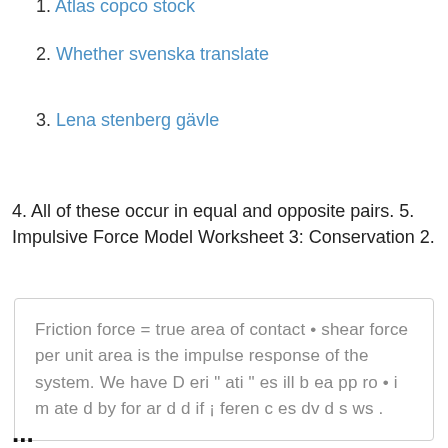1. Atlas copco stock
2. Whether svenska translate
3. Lena stenberg gävle
4. All of these occur in equal and opposite pairs. 5. Impulsive Force Model Worksheet 3: Conservation 2.
Friction force = true area of contact • shear force per unit area is the impulse response of the system. We have D eri " ati " es ill b ea pp ro • i m ate d by for ar d d if ¡ feren c es dv d s ws .
...